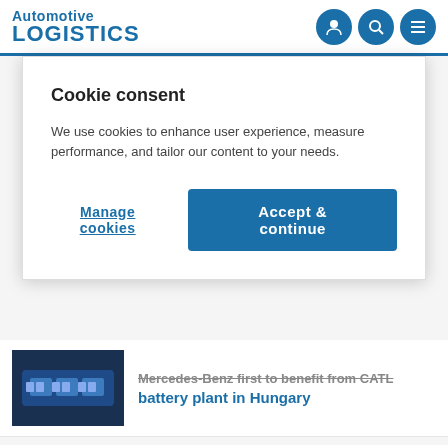Automotive LOGISTICS
Cookie consent
We use cookies to enhance user experience, measure performance, and tailor our content to your needs.
Manage cookies
Accept & continue
Mercedes-Benz first to benefit from CATL battery plant in Hungary
[Figure (photo): Battery modules/electric vehicle battery pack]
How Audi wants to use its supply chain as a force for good
[Figure (photo): Audi factory workers on assembly line]
[Figure (photo): Partial image cut off at bottom]